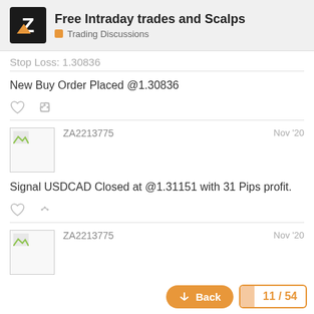Free Intraday trades and Scalps — Trading Discussions
Stop Loss: 1.30836 (truncated/partially visible)
New Buy Order Placed @1.30836
ZA2213775   Nov '20
Signal USDCAD Closed at @1.31151 with 31 Pips profit.
ZA2213775   Nov '20
Date: 23.11.2020
Pair: NZDUSD
Action: SELL